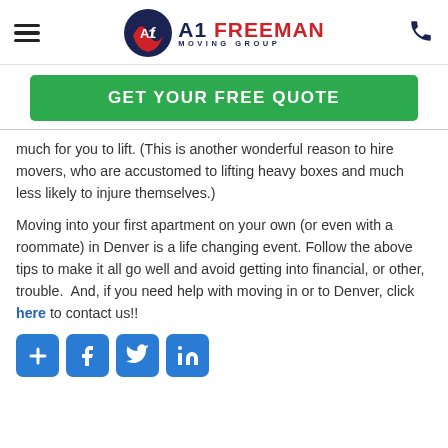A1 Freeman Moving Group
[Figure (logo): A1 Freeman Moving Group logo with circular AF icon in navy and red, and company name in navy text]
GET YOUR FREE QUOTE
much for you to lift. (This is another wonderful reason to hire movers, who are accustomed to lifting heavy boxes and much less likely to injure themselves.)
Moving into your first apartment on your own (or even with a roommate) in Denver is a life changing event. Follow the above tips to make it all go well and avoid getting into financial, or other, trouble.  And, if you need help with moving in or to Denver, click here to contact us!!
[Figure (illustration): Social sharing icons: add (+), Facebook (f), Twitter (bird), LinkedIn (in) — all white on blue rounded square backgrounds]